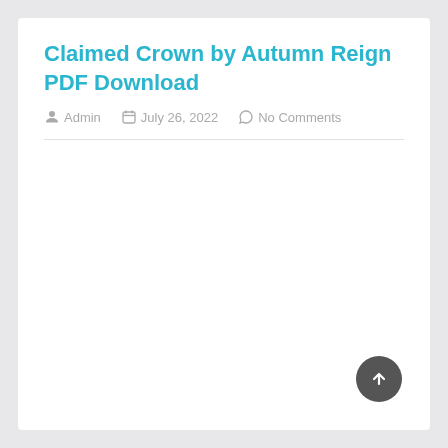Claimed Crown by Autumn Reign PDF Download
Admin   July 26, 2022   No Comments